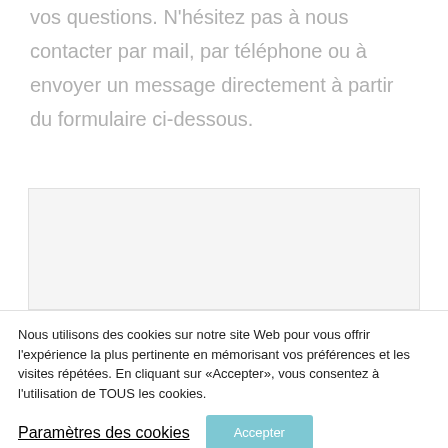vos questions. N'hésitez pas à nous contacter par mail, par téléphone ou à envoyer un message directement à partir du formulaire ci-dessous.
[Figure (screenshot): A light grey form box containing a blue-grey 'Nous contacter' button centered in the box.]
Nous utilisons des cookies sur notre site Web pour vous offrir l'expérience la plus pertinente en mémorisant vos préférences et les visites répétées. En cliquant sur «Accepter», vous consentez à l'utilisation de TOUS les cookies.
Paramètres des cookies | Accepter